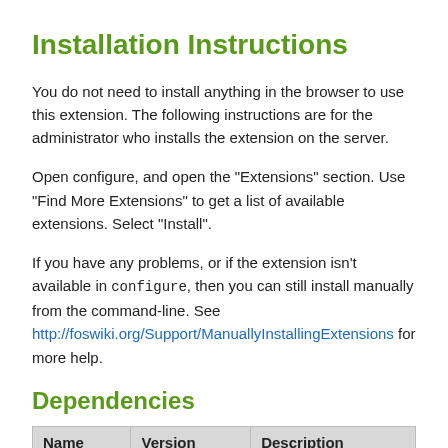Installation Instructions
You do not need to install anything in the browser to use this extension. The following instructions are for the administrator who installs the extension on the server.
Open configure, and open the "Extensions" section. Use "Find More Extensions" to get a list of available extensions. Select "Install".
If you have any problems, or if the extension isn't available in configure, then you can still install manually from the command-line. See http://foswiki.org/Support/ManuallyInstallingExtensions for more help.
Dependencies
| Name | Version | Description |
| --- | --- | --- |